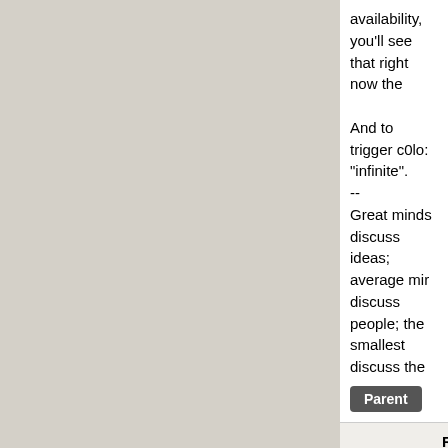availability, you'll see that right now the

And to trigger c0lo: "infinite".
--
Great minds discuss ideas; average minds discuss people; the smallest discuss the
Parent
Re:A mere pittance (So   March 21 2021, @12:21AM
Re:A mere pittance
by hendrikboom (1125) ⭐ on Sunday M   Homepage Journal
More like a few hundred million:

The Carboniferous (/ˌkɑːr.bəˈnɪf.ər. geologic period and system that s of the Devonian Period 358.9 milli beginning of the Permian Period, 2
Parent
Re:A mere pittance (s